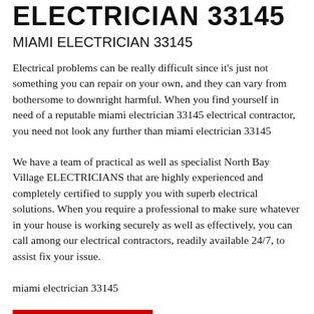ELECTRICIAN 33145
MIAMI ELECTRICIAN 33145
Electrical problems can be really difficult since it’s just not something you can repair on your own, and they can vary from bothersome to downright harmful. When you find yourself in need of a reputable miami electrician 33145 electrical contractor, you need not look any further than miami electrician 33145
We have a team of practical as well as specialist North Bay Village ELECTRICIANS that are highly experienced and completely certified to supply you with superb electrical solutions. When you require a professional to make sure whatever in your house is working securely as well as effectively, you can call among our electrical contractors, readily available 24/7, to assist fix your issue.
miami electrician 33145
[Figure (other): Red horizontal bar at bottom of page]